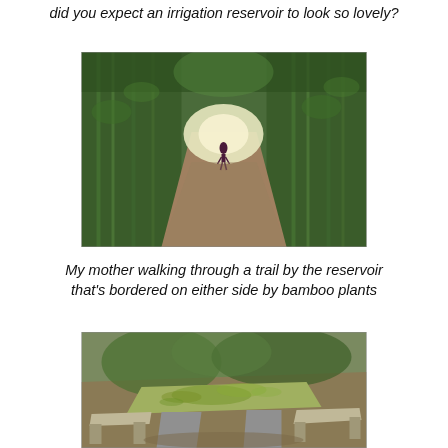did you expect an irrigation reservoir to look so lovely?
[Figure (photo): A person walking along a dirt trail flanked on both sides by tall bamboo plants, with light visible at the far end of the tunnel-like path.]
My mother walking through a trail by the reservoir that's bordered on either side by bamboo plants
[Figure (photo): A stone table and bench outdoors, covered with green moss, surrounded by trees and vegetation.]